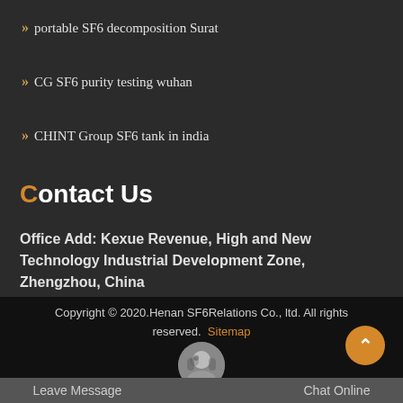portable SF6 decomposition Surat
CG SF6 purity testing wuhan
CHINT Group SF6 tank in india
Contact Us
Office Add: Kexue Revenue, High and New Technology Industrial Development Zone, Zhengzhou, China
Copyright © 2020.Henan SF6Relations Co., ltd. All rights reserved. Sitemap
Leave Message
Chat Online